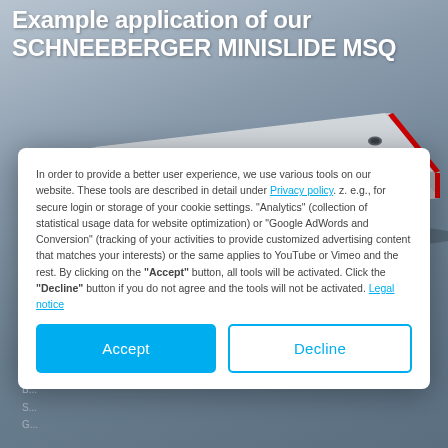Example application of our SCHNEEBERGER MINISLIDE MSQ
[Figure (photo): 3D rendering of a SCHNEEBERGER MINISLIDE MSQ linear guide rail, metallic grey with red accent edge, viewed from an isometric perspective showing mounting holes on top surface]
In order to provide a better user experience, we use various tools on our website. These tools are described in detail under Privacy policy. z. e.g., for secure login or storage of your cookie settings. "Analytics" (collection of statistical usage data for website optimization) or "Google AdWords and Conversion" (tracking of your activities to provide customized advertising content that matches your interests) or the same applies to YouTube or Vimeo and the rest. By clicking on the "Accept" button, all tools will be activated. Click the "Decline" button if you do not agree and the tools will not be activated. Legal notice